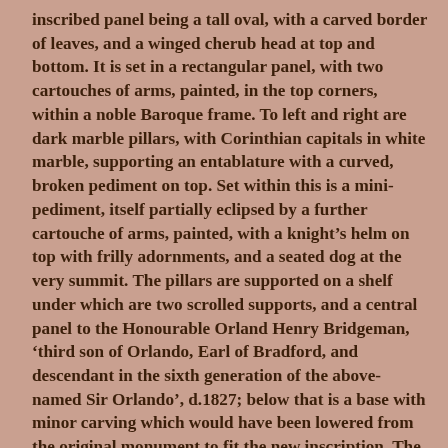inscribed panel being a tall oval, with a carved border of leaves, and a winged cherub head at top and bottom. It is set in a rectangular panel, with two cartouches of arms, painted, in the top corners, within a noble Baroque frame. To left and right are dark marble pillars, with Corinthian capitals in white marble, supporting an entablature with a curved, broken pediment on top. Set within this is a mini-pediment, itself partially eclipsed by a further cartouche of arms, painted, with a knight’s helm on top with frilly adornments, and a seated dog at the very summit. The pillars are supported on a shelf under which are two scrolled supports, and a central panel to the Honourable Orland Henry Bridgeman, ‘third son of Orlando, Earl of Bradford, and descendant in the sixth generation of the above-named Sir Orlando’, d.1827; below that is a base with minor carving which would have been lowered from the original monument to fit the new inscription. The full translation of the inscription is given on a modern notice board, noting that he was